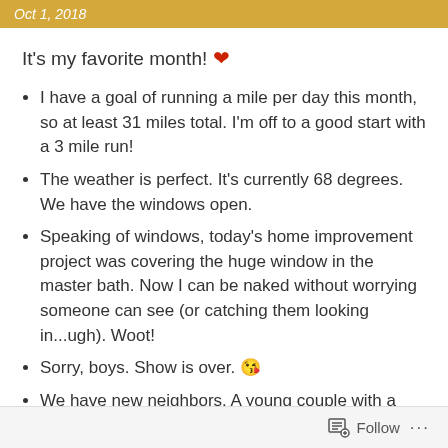Oct 1, 2018
It's my favorite month! ❤
I have a goal of running a mile per day this month, so at least 31 miles total. I'm off to a good start with a 3 mile run!
The weather is perfect. It's currently 68 degrees. We have the windows open.
Speaking of windows, today's home improvement project was covering the huge window in the master bath. Now I can be naked without worrying someone can see (or catching them looking in...ugh). Woot!
Sorry, boys. Show is over. 😘
We have new neighbors. A young couple with a toddler.
Follow ...